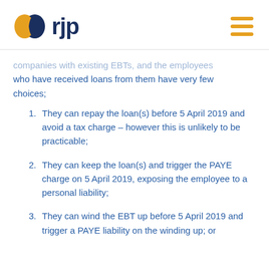rjp
companies with existing EBTs, and the employees who have received loans from them have very few choices;
They can repay the loan(s) before 5 April 2019 and avoid a tax charge – however this is unlikely to be practicable;
They can keep the loan(s) and trigger the PAYE charge on 5 April 2019, exposing the employee to a personal liability;
They can wind the EBT up before 5 April 2019 and trigger a PAYE liability on the winding up; or